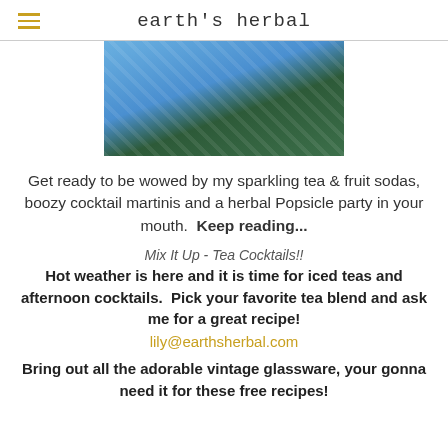earth's herbal
[Figure (photo): Partial photo of a person in a blue patterned outfit against a green background, cropped at top]
Get ready to be wowed by my sparkling tea & fruit sodas, boozy cocktail martinis and a herbal Popsicle party in your mouth.  Keep reading...
Mix It Up - Tea Cocktails!!
Hot weather is here and it is time for iced teas and afternoon cocktails.  Pick your favorite tea blend and ask me for a great recipe!
lily@earthsherbal.com
Bring out all the adorable vintage glassware, your gonna need it for these free recipes!